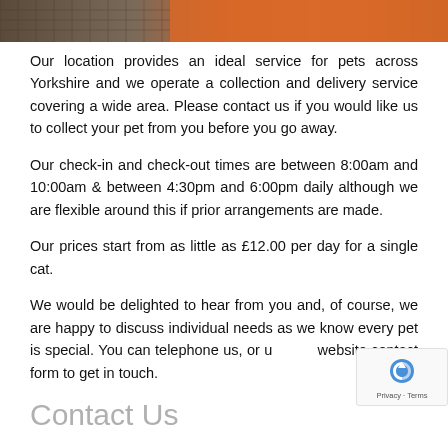[Figure (photo): Partial photo of what appears to be orange/red colored pet bedding or play equipment behind a wire/mesh enclosure]
Our location provides an ideal service for pets across Yorkshire and we operate a collection and delivery service covering a wide area. Please contact us if you would like us to collect your pet from you before you go away.
Our check-in and check-out times are between 8:00am and 10:00am & between 4:30pm and 6:00pm daily although we are flexible around this if prior arrangements are made.
Our prices start from as little as £12.00 per day for a single cat.
We would be delighted to hear from you and, of course, we are happy to discuss individual needs as we know every pet is special. You can telephone us, or use our website contact form to get in touch.
Contact Us